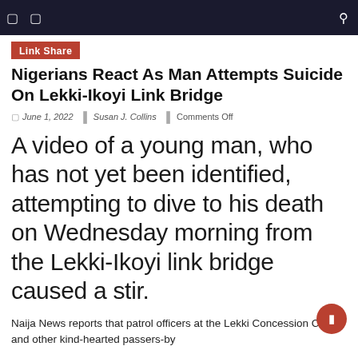Link Share
Nigerians React As Man Attempts Suicide On Lekki-Ikoyi Link Bridge
June 1, 2022 | Susan J. Collins | Comments Off
A video of a young man, who has not yet been identified, attempting to dive to his death on Wednesday morning from the Lekki-Ikoyi link bridge caused a stir.
Naija News reports that patrol officers at the Lekki Concession Center and other kind-hearted passers-by